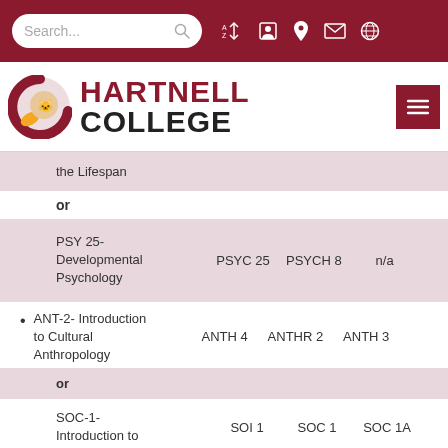[Figure (screenshot): Hartnell College website header with search bar and navigation icons on dark red background, college logo and name]
the Lifespan
or
| Course | Col1 | Col2 | Col3 |
| --- | --- | --- | --- |
| PSY 25- Developmental Psychology | PSYC 25 | PSYCH 8 | n/a |
ANT-2- Introduction to Cultural Anthropology	ANTH 4	ANTHR 2	ANTH 3
or
SOC-1- Introduction to	SOI 1	SOC 1	SOC 1A